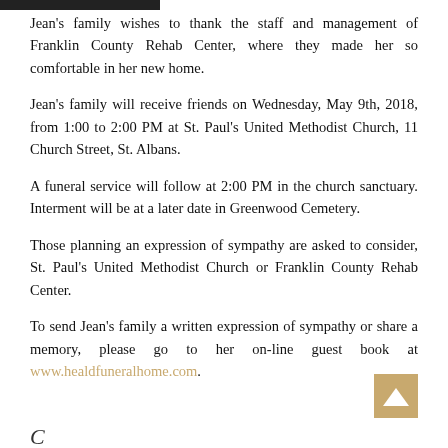Jean's family wishes to thank the staff and management of Franklin County Rehab Center, where they made her so comfortable in her new home.
Jean's family will receive friends on Wednesday, May 9th, 2018, from 1:00 to 2:00 PM at St. Paul's United Methodist Church, 11 Church Street, St. Albans.
A funeral service will follow at 2:00 PM in the church sanctuary. Interment will be at a later date in Greenwood Cemetery.
Those planning an expression of sympathy are asked to consider, St. Paul's United Methodist Church or Franklin County Rehab Center.
To send Jean's family a written expression of sympathy or share a memory, please go to her on-line guest book at www.healdfuneralhome.com.